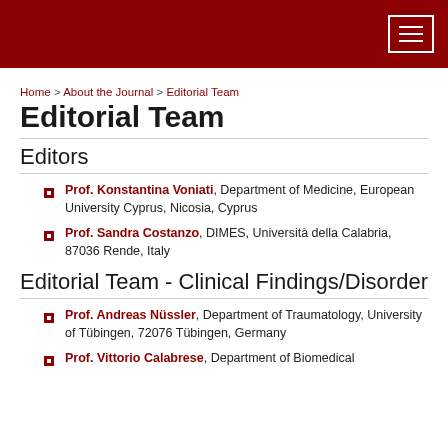Home > About the Journal > Editorial Team
Editorial Team
Editors
Prof. Konstantina Voniati, Department of Medicine, European University Cyprus, Nicosia, Cyprus
Prof. Sandra Costanzo, DIMES, Università della Calabria, 87036 Rende, Italy
Editorial Team - Clinical Findings/Disorder
Prof. Andreas Nüssler, Department of Traumatology, University of Tübingen, 72076 Tübingen, Germany
Prof. Vittorio Calabrese, Department of Biomedical